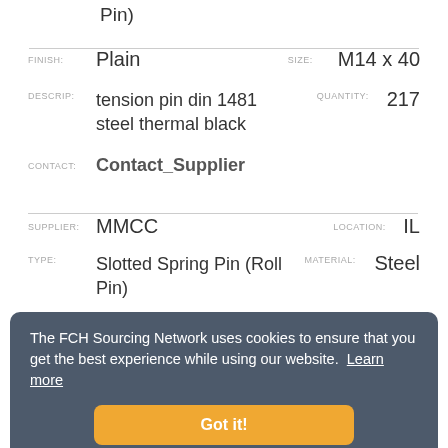Pin)
FINISH: Plain | SIZE: M14 x 40
DESCRIP: tension pin din 1481 steel thermal black | QUANTITY: 217
CONTACT: Contact_Supplier
SUPPLIER: MMCC | LOCATION: IL
TYPE: Slotted Spring Pin (Roll Pin) | MATERIAL: Steel
FINISH: Plain | SIZE: M14 x 80
DESCRIP: tension pin din 1481 | QUANTITY: 215
steel thermal black
CONTACT: Contact_Supplier
The FCH Sourcing Network uses cookies to ensure that you get the best experience while using our website. Learn more
Got it!
SUPPLIER: Eurolink | LOCATION: SC